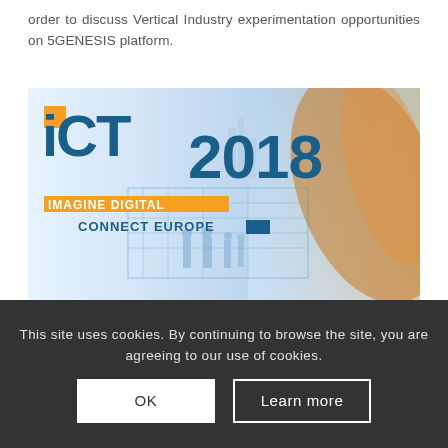order to discuss Vertical Industry experimentation opportunities on 5GENESIS platform.
[Figure (illustration): ICT 2018 conference banner — 'IMAGINE DIGITAL CONNECT EUROPE', Vienna, 4-6 December, with logos for eu2018.at and bmvit]
This site uses cookies. By continuing to browse the site, you are agreeing to our use of cookies.